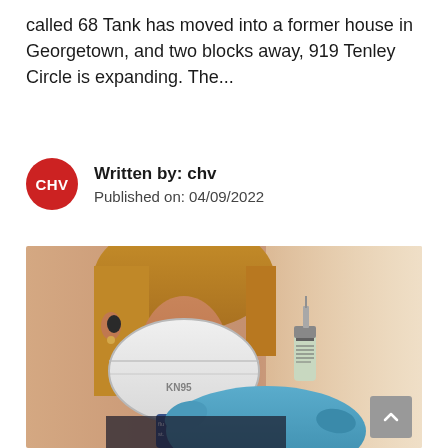called 68 Tank has moved into a former house in Georgetown, and two blocks away, 919 Tenley Circle is expanding. The...
Written by: chv
Published on: 04/09/2022
[Figure (photo): Healthcare worker wearing a KN95 mask and blue latex gloves holding a vaccine vial and syringe]